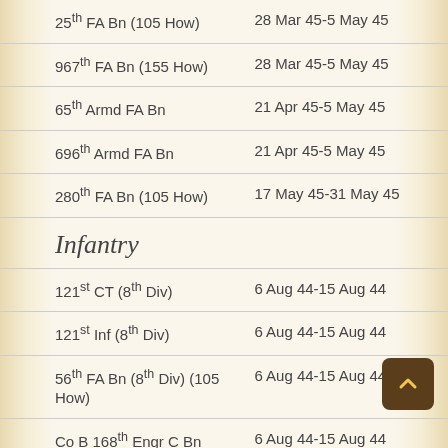| Unit | Dates |
| --- | --- |
| 25th FA Bn (105 How) | 28 Mar 45-5 May 45 |
| 967th FA Bn (155 How) | 28 Mar 45-5 May 45 |
| 65th Armd FA Bn | 21 Apr 45-5 May 45 |
| 696th Armd FA Bn | 21 Apr 45-5 May 45 |
| 280th FA Bn (105 How) | 17 May 45-31 May 45 |
Infantry
| Unit | Dates |
| --- | --- |
| 121st CT (8th Div) | 6 Aug 44-15 Aug 44 |
| 121st Inf (8th Div) | 6 Aug 44-15 Aug 44 |
| 56th FA Bn (8th Div) (105 How) | 6 Aug 44-15 Aug 44 |
| Co B 168th Engr C Bn | 6 Aug 44-15 Aug 44 |